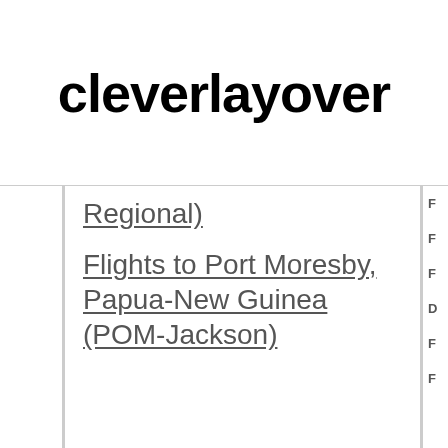cleverlayover
Regional)
Flights to Port Moresby, Papua-New Guinea (POM-Jackson)